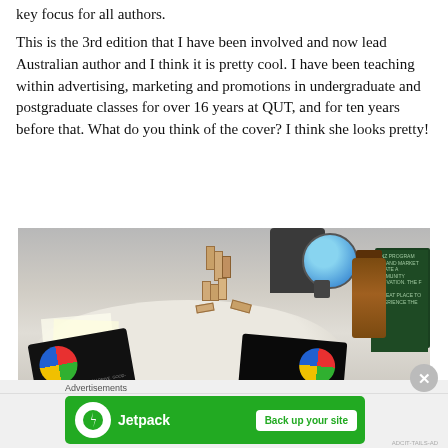key focus for all authors.
This is the 3rd edition that I have been involved and now lead Australian author and I think it is pretty cool. I have been teaching within advertising, marketing and promotions in undergraduate and postgraduate classes for over 16 years at QUT, and for ten years before that. What do you think of the cover? I think she looks pretty!
[Figure (photo): Photo of a round table with books featuring colorful circular covers, wooden Jenga-style blocks stacked in different arrangements, a globe, an amber glass bottle, and a dark green board in the background. There is also a chair visible.]
Advertisements
[Figure (other): Jetpack advertisement banner with green background showing Jetpack logo and 'Back up your site' button]